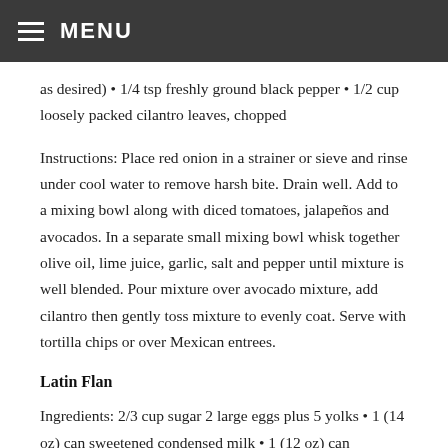≡ MENU
as desired) • 1/4 tsp freshly ground black pepper • 1/2 cup loosely packed cilantro leaves, chopped
Instructions: Place red onion in a strainer or sieve and rinse under cool water to remove harsh bite. Drain well. Add to a mixing bowl along with diced tomatoes, jalapeños and avocados. In a separate small mixing bowl whisk together olive oil, lime juice, garlic, salt and pepper until mixture is well blended. Pour mixture over avocado mixture, add cilantro then gently toss mixture to evenly coat. Serve with tortilla chips or over Mexican entrees.
Latin Flan
Ingredients: 2/3 cup sugar 2 large eggs plus 5 yolks • 1 (14 oz) can sweetened condensed milk • 1 (12 oz) can evaporated milk • ½ cup whole milk (half-and-half or 2% milk may be substituted, but do not use skim milk) • 2 tsp vanilla extract• ½ tsp salt • 1 tbsp Bourbon (if needed, substitute Bourbon with an additional 2 tsp of vanilla extract)